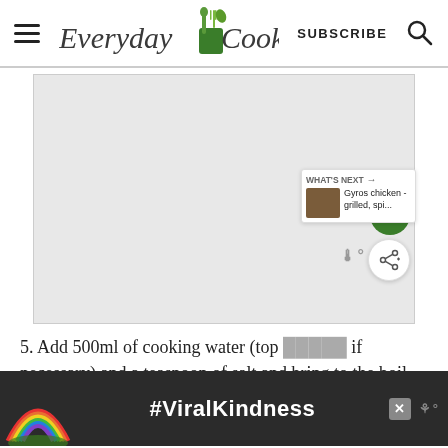Everyday Cooks | SUBSCRIBE
[Figure (photo): Large grey placeholder image area for a recipe step photo, with floating action buttons (heart/save and share), a thermometer icon, and a 'What's Next' panel showing 'Gyros chicken - grilled, spi...']
5. Add 500ml of cooking water (top up if necessary) and a teaspoon of salt and bring to the boil. Turn the heat down so that the
[Figure (infographic): Advertisement banner with rainbow illustration and text '#ViralKindness']